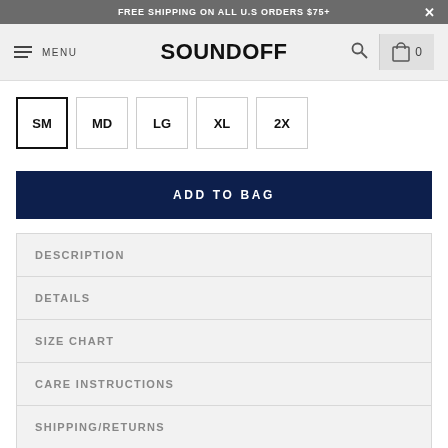FREE SHIPPING ON ALL U.S ORDERS $75+
SOUNDOFF
SM MD LG XL 2X
ADD TO BAG
DESCRIPTION
DETAILS
SIZE CHART
CARE INSTRUCTIONS
SHIPPING/RETURNS